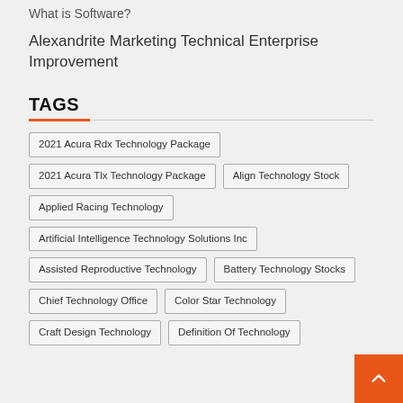What is Software?
Alexandrite Marketing Technical Enterprise Improvement
TAGS
2021 Acura Rdx Technology Package
2021 Acura Tlx Technology Package
Align Technology Stock
Applied Racing Technology
Artificial Intelligence Technology Solutions Inc
Assisted Reproductive Technology
Battery Technology Stocks
Chief Technology Office
Color Star Technology
Craft Design Technology
Definition Of Technology